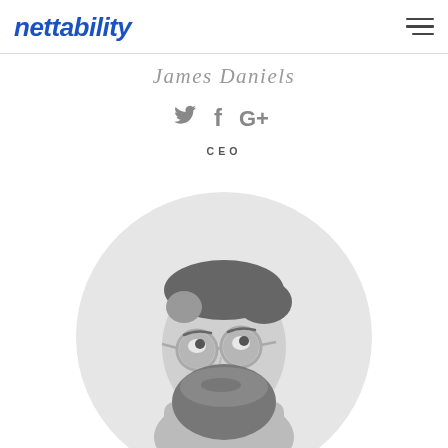nettability
James Daniels
[Figure (infographic): Social media icons: Twitter bird, Facebook f, Google G+]
CEO
[Figure (photo): Black and white circular portrait photo of a bearded man with round glasses looking upward, cropped in a circle with light grey background]